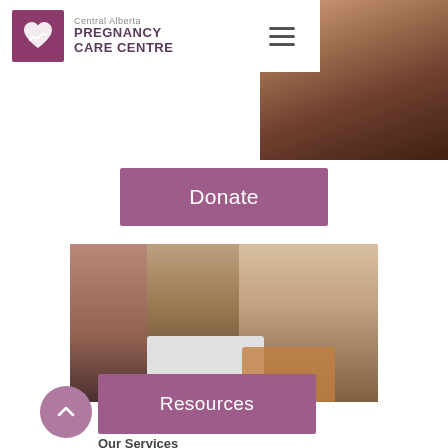Central Alberta PREGNANCY CARE CENTRE
[Figure (photo): Partial warm-toned photo in top right corner, blurred background texture]
[Figure (logo): Central Alberta Pregnancy Care Centre logo with purple heart/hand icon]
Donate
[Figure (photo): Three women of different ethnicities looking forward, portrait photo]
Resources
Quick Links
Our Services